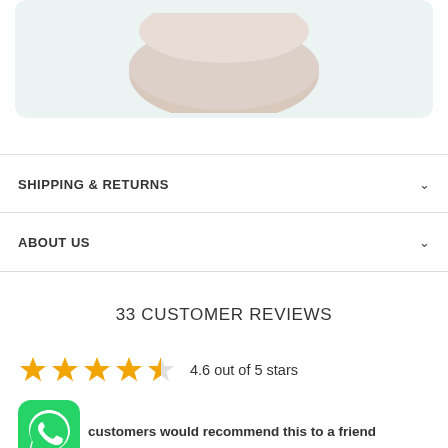[Figure (photo): Partial view of a beige/tan bowl-shaped product on a light teal/mint background, cropped at top]
SHIPPING & RETURNS
ABOUT US
33 CUSTOMER REVIEWS
4.6 out of 5 stars
[Figure (logo): WhatsApp green logo icon]
customers would recommend this to a friend